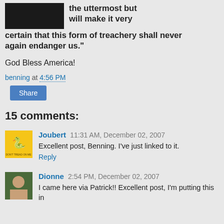[Figure (photo): Black and white photo of a person]
the uttermost but will make it very certain that this form of treachery shall never again endanger us."
God Bless America!
benning at 4:56 PM
Share
15 comments:
[Figure (illustration): Gadsden flag avatar - yellow with snake]
Joubert 11:31 AM, December 02, 2007
Excellent post, Benning. I've just linked to it.
Reply
[Figure (photo): Dionne avatar photo]
Dionne 2:54 PM, December 02, 2007
I came here via Patrick!! Excellent post, I'm putting this in